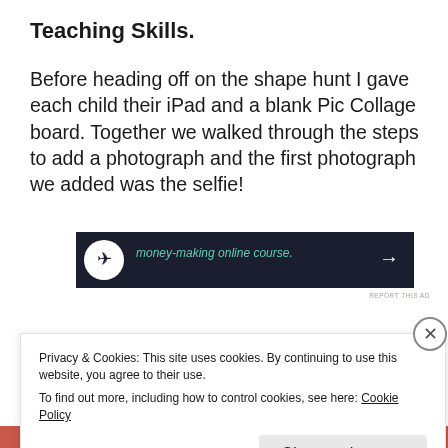Teaching Skills.
Before heading off on the shape hunt I gave each child their iPad and a blank Pic Collage board. Together we walked through the steps to add a photograph and the first photograph we added was the selfie!
[Figure (screenshot): Advertisement banner with dark background showing a person icon, green italic text 'money-making online course.' and a white arrow pointing right]
REPORT THIS AD
Privacy & Cookies: This site uses cookies. By continuing to use this website, you agree to their use.
To find out more, including how to control cookies, see here: Cookie Policy
Close and accept